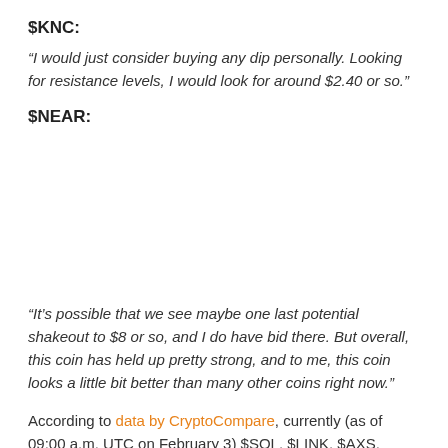$KNC:
“I would just consider buying any dip personally. Looking for resistance levels, I would look for around $2.40 or so.”
$NEAR:
“It’s possible that we see maybe one last potential shakeout to $8 or so, and I do have bid there. But overall, this coin has held up pretty strong, and to me, this coin looks a little bit better than many other coins right now.”
According to data by CryptoCompare, currently (as of 09:00 a.m. UTC on February 3) $SOL, $LINK, $AXS, $KNC, and $NEAR are trading around $98.72, $15.89, $48.86, $1.905,